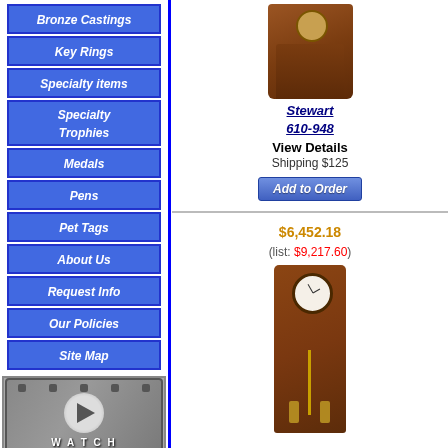Bronze Castings
Key Rings
Specialty items
Specialty Trophies
Medals
Pens
Pet Tags
About Us
Request Info
Our Policies
Site Map
[Figure (other): Watch Our Video button with play icon and film strip background]
[Figure (photo): Small image placeholder thumbnail]
[Figure (photo): Photo of a wooden mantel clock (Stewart 610-948)]
Stewart 610-948
View Details
Shipping $125
Add to Order
$6,452.18
(list: $9,217.60)
[Figure (photo): Photo of a tall grandfather clock in dark wood]